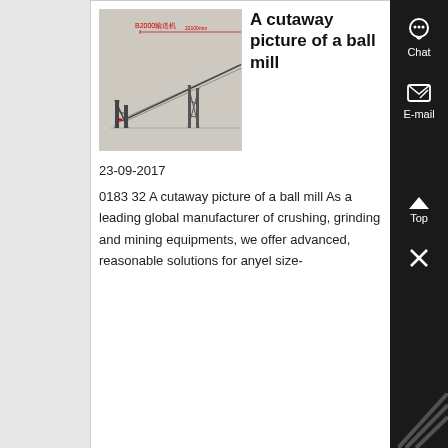[Figure (photo): A cutaway/engineering image of a conveyor belt or ball mill structure with steel framework and Chinese text annotations, on a gray background.]
A cutaway picture of a ball mill
23-09-2017
0183 32 A cutaway picture of a ball mill As a leading global manufacturer of crushing, grinding and mining equipments, we offer advanced, reasonable solutions for anyel size-